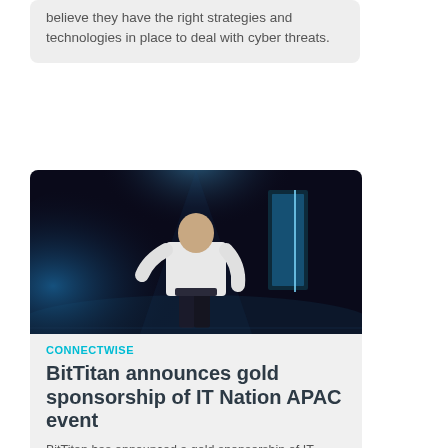believe they have the right strategies and technologies in place to deal with cyber threats.
[Figure (photo): Person seen from behind on a stage with blue spotlights and a glowing screen]
CONNECTWISE
BitTitan announces gold sponsorship of IT Nation APAC event
BitTitan has announced a gold sponsorship of IT Nation Connect Asia-Pacific, a three-day ConnectWise